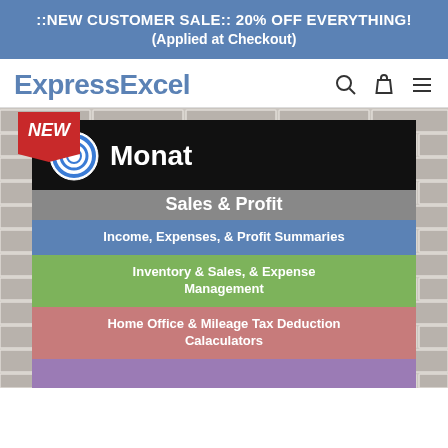::NEW CUSTOMER SALE:: 20% OFF EVERYTHING! (Applied at Checkout)
ExpressExcel
[Figure (screenshot): Product listing image for Monat Sales & Profit spreadsheet tool. Shows a black banner with Monat logo and title, below which are colored feature rows: blue 'Income, Expenses, & Profit Summaries', green 'Inventory & Sales, & Expense Management', pink 'Home Office & Mileage Tax Deduction Calaculators', and a partially visible purple bar at bottom. The image is overlaid on a brick wall background. A red 'NEW' badge is in the top-left corner of the product card.]